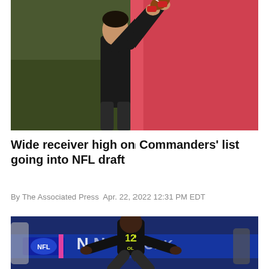[Figure (photo): NFL combine photo of a wide receiver in a black shirt catching or reaching for a football overhead, with a red/pink background]
Wide receiver high on Commanders' list going into NFL draft
By The Associated Press Apr. 22, 2022 12:31 PM EDT
[Figure (photo): NFL combine photo of a player wearing number 12 in a black uniform in a stance on the field, with NFL Network branding visible in the background]